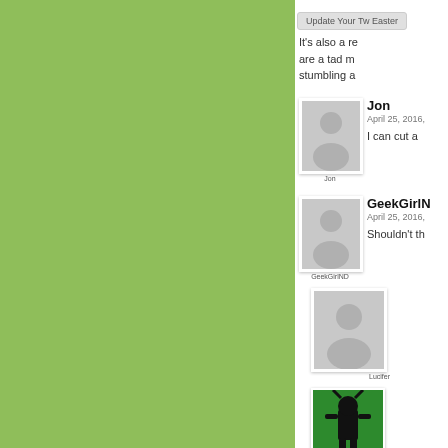[Figure (screenshot): Website comment section screenshot with green sidebar on the left and comment thread on the right showing users Jon, GeekGirlN, Lucifer, and Adam with avatar images]
It's also a re are a tad m stumbling a
Jon
April 25, 2016,
I can cut a
GeekGirlN
April 25, 2016,
Shouldn't th
[Figure (photo): Avatar for Lucifer - grey person silhouette placeholder]
[Figure (photo): Avatar for Adam - green square with stylized character logo]